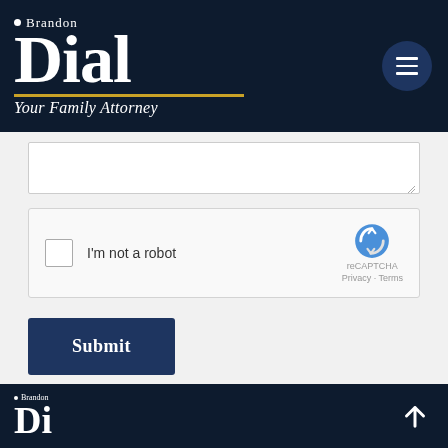[Figure (logo): Brandon Dial Your Family Attorney logo with dark navy background, large serif Dial text, gold underline, and hamburger menu button]
[Figure (screenshot): Textarea input field (partially visible, bottom edge) for a contact form]
[Figure (screenshot): reCAPTCHA widget with checkbox labeled I'm not a robot]
Submit
[Figure (logo): Brandon Dial footer logo on dark navy background with up-arrow navigation button]